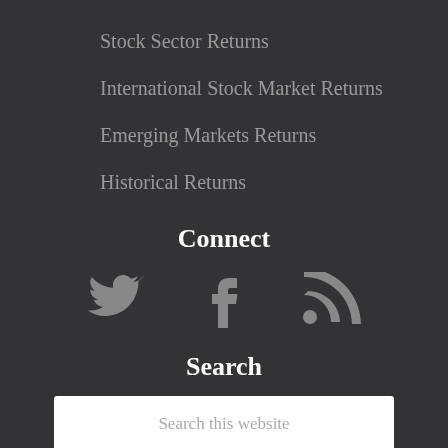Stock Sector Returns
International Stock Market Returns
Emerging Markets Returns
Historical Returns
Connect
[Figure (infographic): Three social media icons: Twitter bird icon, Facebook 'f' icon, and RSS feed icon, displayed in a row]
Search
Search this website